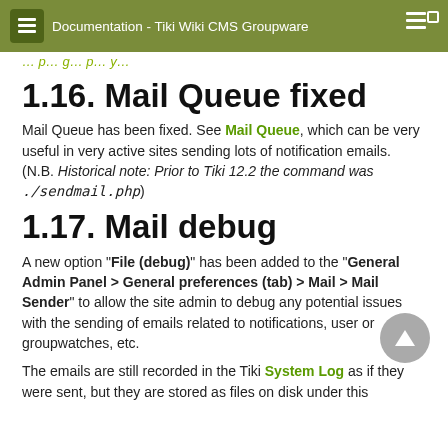Documentation - Tiki Wiki CMS Groupware
… (cropped link/navigation)
1.16. Mail Queue fixed
Mail Queue has been fixed. See Mail Queue, which can be very useful in very active sites sending lots of notification emails. (N.B. Historical note: Prior to Tiki 12.2 the command was ./sendmail.php)
1.17. Mail debug
A new option "File (debug)" has been added to the "General Admin Panel > General preferences (tab) > Mail > Mail Sender" to allow the site admin to debug any potential issues with the sending of emails related to notifications, user or groupwatches, etc.
The emails are still recorded in the Tiki System Log as if they were sent, but they are stored as files on disk under this